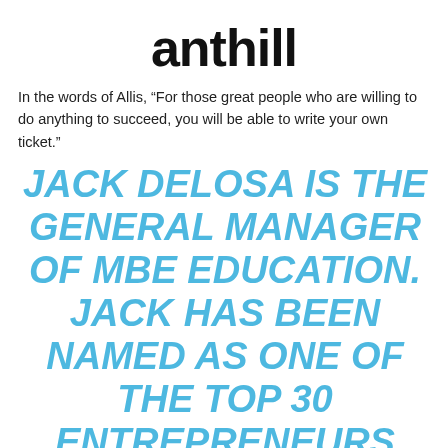anthill
In the words of Allis, “For those great people who are willing to do anything to succeed, you will be able to write your own ticket.”
JACK DELOSA IS THE GENERAL MANAGER OF MBE EDUCATION. JACK HAS BEEN NAMED AS ONE OF THE TOP 30 ENTREPRENEURS UNDER 30 IN AUSTRALIAN ANTHILL’S 30UNDER30 AWARDS AND